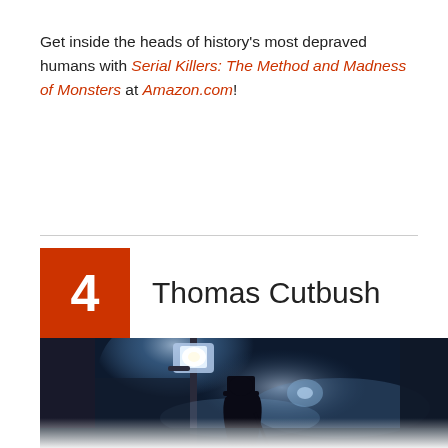Get inside the heads of history's most depraved humans with Serial Killers: The Method and Madness of Monsters at Amazon.com!
4  Thomas Cutbush
[Figure (photo): A dark, foggy Victorian street scene at night with a gas lamp glowing and a silhouetted figure in a top hat and cape]